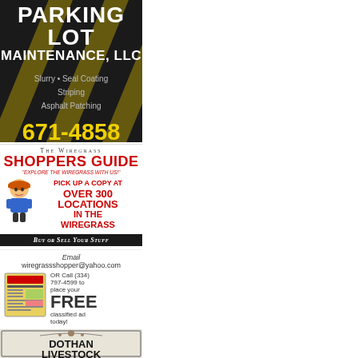[Figure (illustration): Parking Lot Maintenance LLC advertisement on dark background with yellow diagonal stripes. Text: PARKING LOT MAINTENANCE, LLC. Services: Slurry • Seal Coating, Striping, Asphalt Patching. Phone: 671-4858]
[Figure (illustration): The Wiregrass Shoppers Guide advertisement. Pick up a copy at over 300 locations in the wiregrass. Buy or Sell Your Stuff.]
[Figure (illustration): Wiregrass Shoppers Guide contact info. Email wiregrassshopper@yahoo.com OR Call (334) 797-4599 to place your FREE classified ad today!]
[Figure (illustration): Dothan Livestock advertisement with decorative border on beige background]